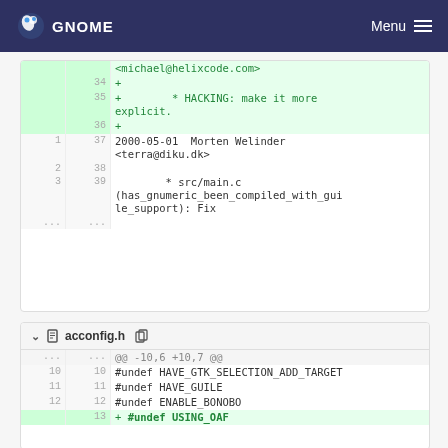GNOME  Menu
Diff panel 1: lines 34-39 with additions and context.
<michael@helix code.com>
34 +
35 + * HACKING: make it more explicit.
36 +
1 37 2000-05-01 Morten Welinder <terra@diku.dk>
2 38
3 39 * src/main.c (has_gnumeric_been_compiled_with_guile_support): Fix
... ...
acconfig.h
Diff panel 2: acconfig.h
... ... @@ -10,6 +10,7 @@
10 10 #undef HAVE_GTK_SELECTION_ADD_TARGET
11 11 #undef HAVE_GUILE
12 12 #undef ENABLE_BONOBO
13 + #undef USING_OAF